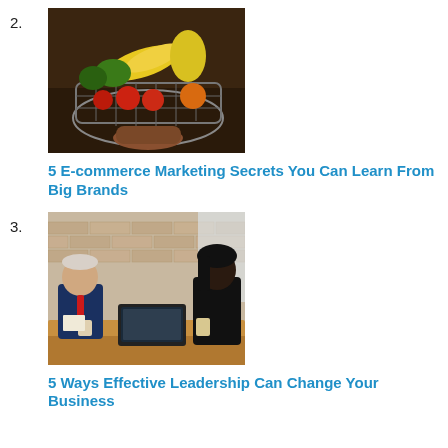2.
[Figure (photo): A grocery basket/shopping basket filled with fresh fruits and vegetables including bananas, apples, tomatoes, and other produce, held by a person's hand.]
5 E-commerce Marketing Secrets You Can Learn From Big Brands
3.
[Figure (photo): Two business professionals sitting at a wooden table in a meeting room with brick walls. An older man in a suit on the left and a woman in black on the right, with a laptop on the table.]
5 Ways Effective Leadership Can Change Your Business